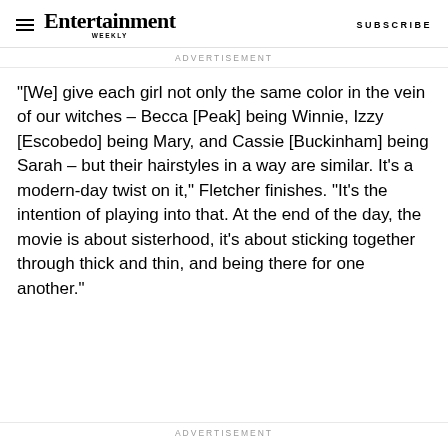Entertainment Weekly  SUBSCRIBE
ADVERTISEMENT
"[We] give each girl not only the same color in the vein of our witches – Becca [Peak] being Winnie, Izzy [Escobedo] being Mary, and Cassie [Buckinham] being Sarah – but their hairstyles in a way are similar. It's a modern-day twist on it," Fletcher finishes. "It's the intention of playing into that. At the end of the day, the movie is about sisterhood, it's about sticking together through thick and thin, and being there for one another."
ADVERTISEMENT